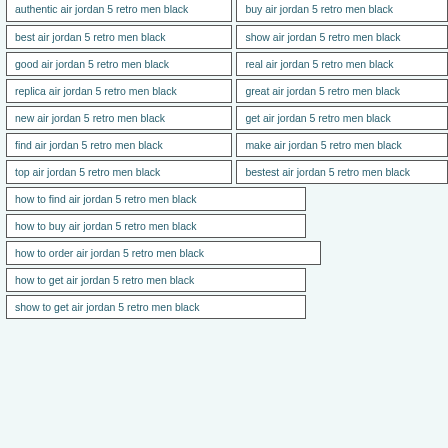authentic air jordan 5 retro men black
buy air jordan 5 retro men black
best air jordan 5 retro men black
show air jordan 5 retro men black
good air jordan 5 retro men black
real air jordan 5 retro men black
replica air jordan 5 retro men black
great air jordan 5 retro men black
new air jordan 5 retro men black
get air jordan 5 retro men black
find air jordan 5 retro men black
make air jordan 5 retro men black
top air jordan 5 retro men black
bestest air jordan 5 retro men black
how to find air jordan 5 retro men black
how to buy air jordan 5 retro men black
how to order air jordan 5 retro men black
how to get air jordan 5 retro men black
show to get air jordan 5 retro men black